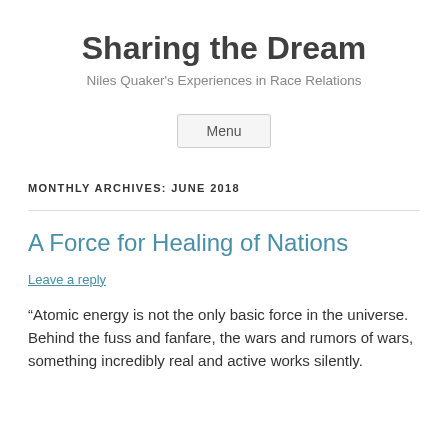Sharing the Dream
Niles Quaker's Experiences in Race Relations
Menu
MONTHLY ARCHIVES: JUNE 2018
A Force for Healing of Nations
Leave a reply
“Atomic energy is not the only basic force in the universe. Behind the fuss and fanfare, the wars and rumors of wars, something incredibly real and active works silently.